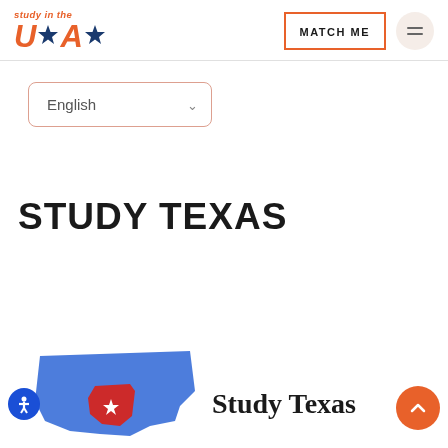[Figure (logo): Study in the USA logo with orange text and blue stars]
[Figure (other): MATCH ME button with orange border and hamburger menu button]
[Figure (other): English language selector dropdown]
STUDY TEXAS
[Figure (logo): Study Texas logo showing USA map with Texas highlighted in red/blue and Study Texas text in serif font]
[Figure (other): Accessibility button (blue circle with person icon) and scroll-to-top button (orange circle with up arrow)]